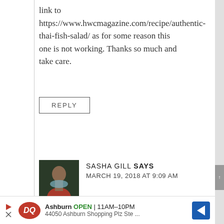link to https://www.hwcmagazine.com/recipe/authentic-thai-fish-salad/ as for some reason this one is not working. Thanks so much and take care.
REPLY
SASHA GILL SAYS
MARCH 19, 2018 AT 9:09 AM
★★★★★
Ohhhh yesss! I totally need to try this Asian
Ashburn OPEN 11AM–10PM
44050 Ashburn Shopping Plz Ste ...